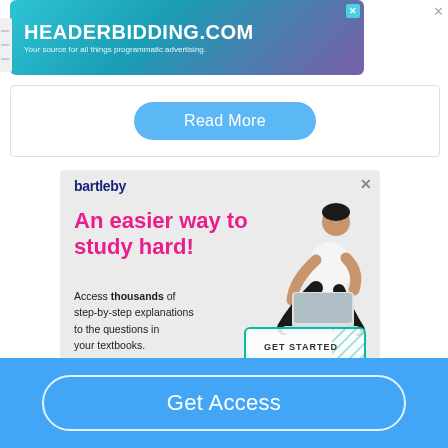[Figure (screenshot): Headerbidding.com advertisement banner with teal/purple gradient background. Text: HEADERBIDDING.COM, Your source for all things programmatic advertising.]
[Figure (screenshot): Read More button in a rounded blue pill shape on a white card with border.]
[Figure (screenshot): Bartleby advertisement on light gray background. Headline: An easier way to study hard! Body: Access thousands of step-by-step explanations to the questions in your textbooks. GET STARTED button with teal border and diagonal hatch pattern. Illustration of person with laptop.]
[Figure (screenshot): Blue bottom bar with Get Access button outlined in white with rounded pill shape.]